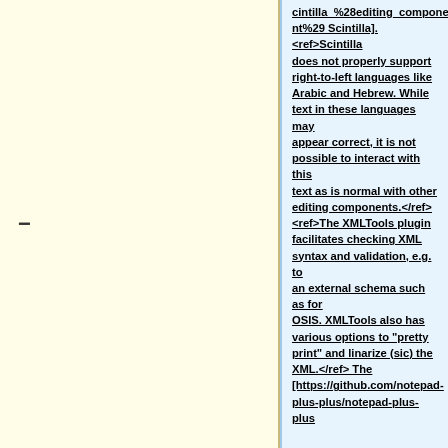cintilla_%28editing_component%29 Scintilla].<ref>Scintilla does not properly support right-to-left languages like Arabic and Hebrew. While text in these languages may appear correct, it is not possible to interact with this text as is normal with other editing components.</ref><ref>The XMLTools plugin facilitates checking XML syntax and validation, e.g. to an external schema such as for OSIS. XMLTools also has various options to "pretty print" and linarize (sic) the XML.</ref>  The [https://github.com/notepad-plus-plus/notepad-plus-plus